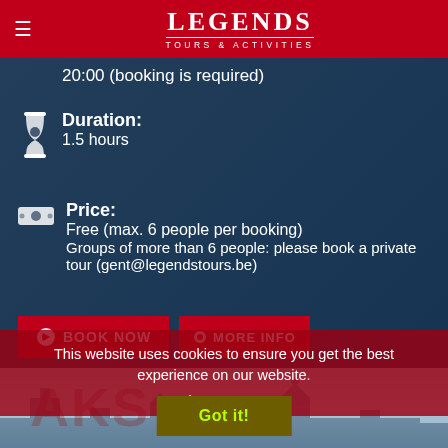LEGENDS TOURS & ACTIVITIES
20:00 (booking is required)
Duration: 1.5 hours
Price: Free (max. 6 people per booking) Groups of more than 6 people: please book a private tour (gent@legendstours.be)
[Figure (screenshot): BOOK NOW and MORE INFO buttons]
This website uses cookies to ensure you get the best experience on our website.
Learn more
[Figure (photo): Bottom city/architecture photo with text overlay AKS]
Got it!